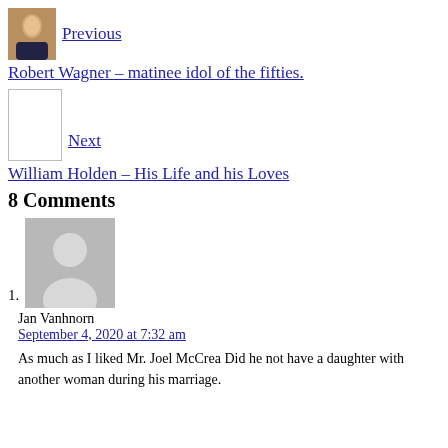[Figure (photo): Small portrait photo of a person (Robert Wagner), used as navigation thumbnail]
Previous
Robert Wagner – matinee idol of the fifties.
[Figure (photo): Empty/placeholder white square image for next post thumbnail]
Next
William Holden – His Life and his Loves
8 Comments
[Figure (photo): Generic gray avatar/silhouette placeholder image for commenter]
Jan Vanhnorn
September 4, 2020 at 7:32 am
As much as I liked Mr. Joel McCrea Did he not have a daughter with another woman during his marriage.